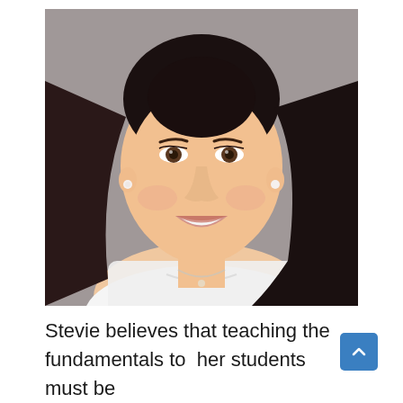[Figure (photo): Professional headshot portrait of a smiling woman with dark hair pulled back, wearing pearl earrings, a necklace, and a white lace top. She has a warm smile and is photographed against a gray background.]
Stevie believes that teaching the fundamentals to  her students must be